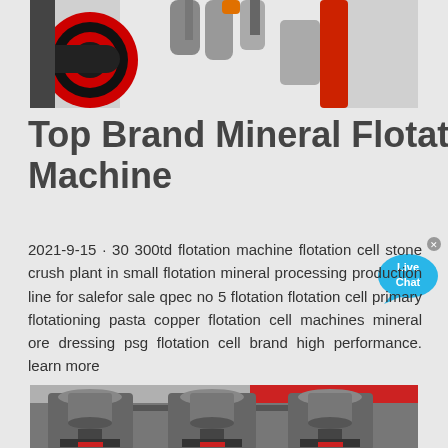[Figure (photo): Close-up photo of industrial flotation machine components showing red circular parts, black belt/wheel, grey mechanical parts, and orange fittings on white background]
Top Brand Mineral Flotation Machine
2021-9-15 · 30 300td flotation machine flotation cell stone crush plant in small flotation mineral processing production line for salefor sale qpec no 5 flotation flotation cell primary flotationing pasta copper flotation cell machines mineral ore dressing psg flotation cell brand high performance. learn more
[Figure (photo): Industrial flotation machines in a row inside a factory, showing large grey conical/cylindrical processing equipment with pipes and mechanical components]